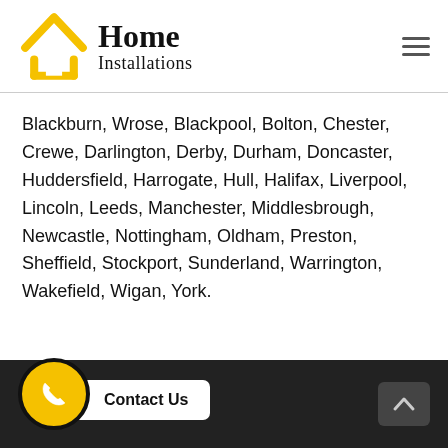[Figure (logo): Home Installations logo with yellow house icon and text 'Home Installations']
Blackburn, Wrose, Blackpool, Bolton, Chester, Crewe, Darlington, Derby, Durham, Doncaster, Huddersfield, Harrogate, Hull, Halifax, Liverpool, Lincoln, Leeds, Manchester, Middlesbrough, Newcastle, Nottingham, Oldham, Preston, Sheffield, Stockport, Sunderland, Warrington, Wakefield, Wigan, York.
Contact Us